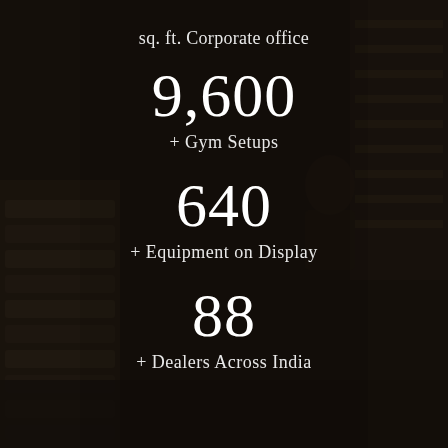[Figure (photo): Dark background photo of gym equipment including dumbbells and weight racks, with a person exercising in the background. Dark overlay applied.]
sq. ft. Corporate office
9,600
+ Gym Setups
640
+ Equipment on Display
88
+ Dealers Across India